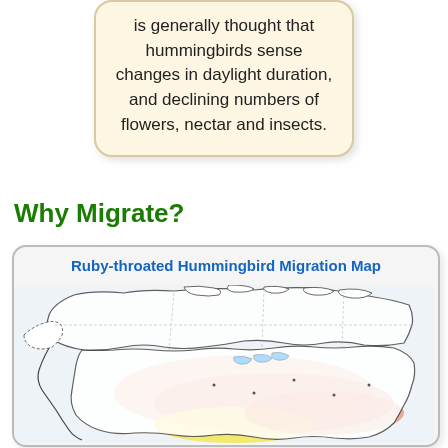is generally thought that hummingbirds sense changes in daylight duration, and declining numbers of flowers, nectar and insects.
Why Migrate?
[Figure (map): Ruby-throated Hummingbird Migration Map showing North America with shaded range areas in orange/salmon and yellow in the southern United States and Central America regions.]